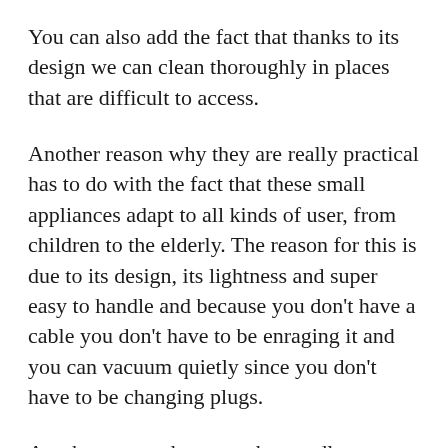You can also add the fact that thanks to its design we can clean thoroughly in places that are difficult to access.
Another reason why they are really practical has to do with the fact that these small appliances adapt to all kinds of user, from children to the elderly. The reason for this is due to its design, its lightness and super easy to handle and because you don’t have a cable you don’t have to be enraging it and you can vacuum quietly since you don’t have to be changing plugs.
Another great advantage that cordless vacuum cleaners have is that with the current chaotic pace of life that we all lead, the truth is that time is a fairly precious commodity so thorough cleaning is somewhat